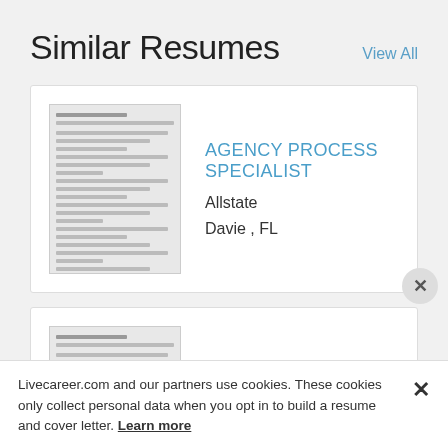Similar Resumes
View All
AGENCY PROCESS SPECIALIST
Allstate
Davie , FL
Process Specialist
Huntington Bancshares Inc
Darien , IL
Livecareer.com and our partners use cookies. These cookies only collect personal data when you opt in to build a resume and cover letter. Learn more